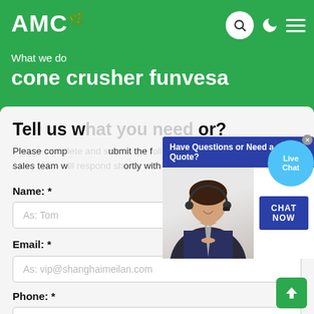AMC
What we do
cone crusher funvesa
Tell us w...or?
Please complete and submit the following form and our sales team will respond shortly with our best prices.
[Figure (screenshot): Chat popup overlay with blue banner saying 'Have Questions or Need a Quote?', a woman customer service representative, and a 'CHAT NOW' button. Also shows a 'Live Chat' bubble in the top right corner.]
Name: *
As: Tom
Email: *
As: vip@shanghaimeilan.com
Phone: *
With Country Code